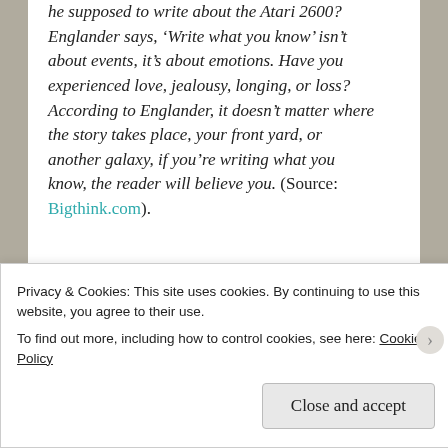he supposed to write about the Atari 2600? Englander says, ‘Write what you know’ isn’t about events, it’s about emotions. Have you experienced love, jealousy, longing, or loss? According to Englander, it doesn’t matter where the story takes place, your front yard, or another galaxy, if you’re writing what you know, the reader will believe you. (Source: Bigthink.com).
[Figure (infographic): Advertisement banner with dark purple background and cyan oval shape. Text reads 'Turn your hobby into a business in 8 steps' with a 'Start a new store' button.]
Privacy & Cookies: This site uses cookies. By continuing to use this website, you agree to their use.
To find out more, including how to control cookies, see here: Cookie Policy